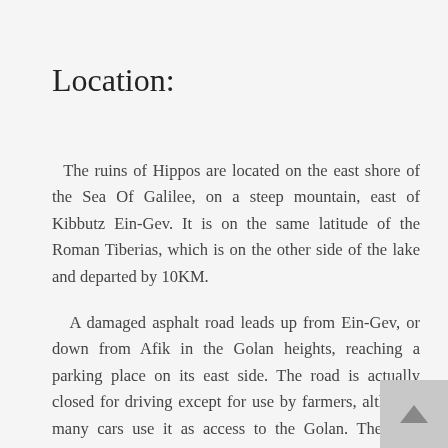Location:
The ruins of Hippos are located on the east shore of the Sea Of Galilee, on a steep mountain, east of Kibbutz Ein-Gev. It is on the same latitude of the Roman Tiberias, which is on the other side of the lake and departed by 10KM.
A damaged asphalt road leads up from Ein-Gev, or down from Afik in the Golan heights, reaching a parking place on its east side. The road is actually closed for driving except for use by farmers, although many cars use it as access to the Golan. The road remains the main problem of developing the site, and we hope that in the near future this road will be